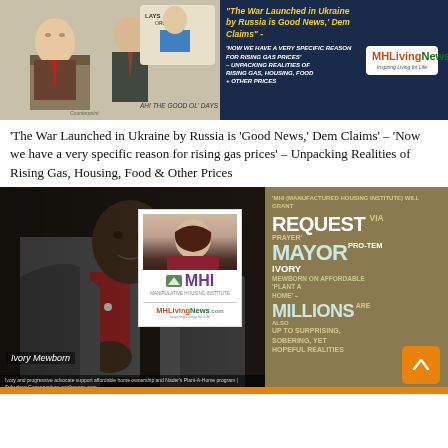[Figure (illustration): Top banner with political cartoon on left showing caricature figures at podium, and dark blue banner on right with yellow italic text 'The War Launched in Ukraine by Russia is Good News, Dem Claims' and white text about gas prices, with MHLivingNews logo]
'The War Launched in Ukraine by Russia is 'Good News,' Dem Claims' – 'Now we have a very specific reason for rising gas prices' – Unpacking Realities of Rising Gas, Housing, Food & Other Prices
[Figure (photo): Photo collage: left side shows Ivory Mewborn (Black man in gray suit with red shirt), center shows MHI (Manufactured Housing Institute) badge with a woman's photo, right panel shows tan/brown background with text about MHI granting request via prayer, Mayor Pro-Tem Ivory Mewborn on affordable 'Plant a Home', Millions are up to surprising, sobering, yet hopeful realities. Orange scroll-to-top button in bottom right.]